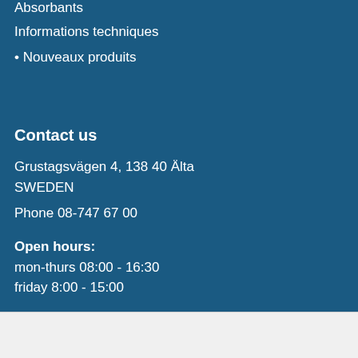Absorbants
Informations techniques
• Nouveaux produits
Contact us
Grustagsvägen 4, 138 40 Älta
SWEDEN
Phone 08-747 67 00
Open hours:
mon-thurs 08:00 - 16:30
friday 8:00 - 15:00
We use cookies to make our website as useful as possible to you. If you continue to use this website means that you accept to the usage of cookies Read more about cookies